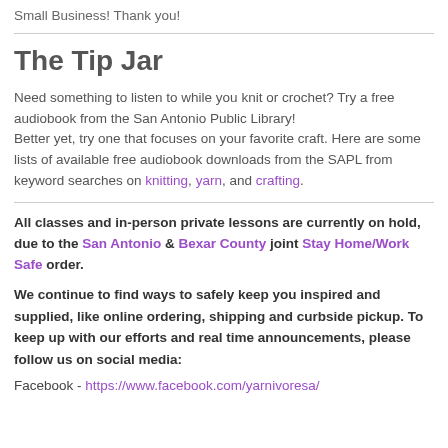Small Business! Thank you!
The Tip Jar
Need something to listen to while you knit or crochet? Try a free audiobook from the San Antonio Public Library! Better yet, try one that focuses on your favorite craft. Here are some lists of available free audiobook downloads from the SAPL from keyword searches on knitting, yarn, and crafting.
All classes and in-person private lessons are currently on hold, due to the San Antonio & Bexar County joint Stay Home/Work Safe order.
We continue to find ways to safely keep you inspired and supplied, like online ordering, shipping and curbside pickup. To keep up with our efforts and real time announcements, please follow us on social media:
Facebook - https://www.facebook.com/yarnivoresa/